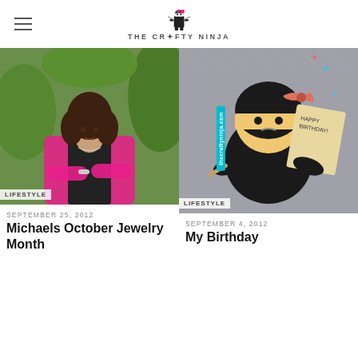THE CRAFTY NINJA
[Figure (photo): Young woman in pink blazer with dark hair, outdoors, with LIFESTYLE tag]
LIFESTYLE
SEPTEMBER 25, 2012
Michaels October Jewelry Month
[Figure (photo): Birthday cake shaped like a ninja character with pink bow, Happy Birthday text, thecraftyninja.com watermark]
LIFESTYLE
SEPTEMBER 4, 2012
My Birthday